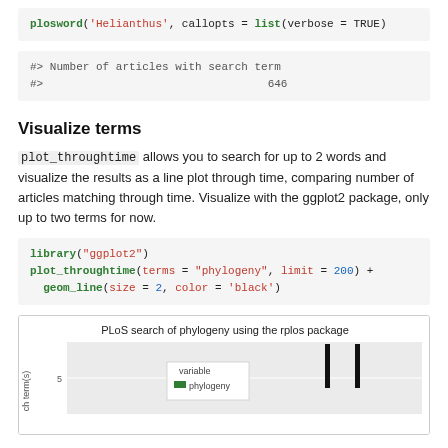plosword('Helianthus', callopts = list(verbose = TRUE)
#> Number of articles with search term
#>                                  646
Visualize terms
plot_throughtime allows you to search for up to 2 words and visualize the results as a line plot through time, comparing number of articles matching through time. Visualize with the ggplot2 package, only up to two terms for now.
library("ggplot2")
plot_throughtime(terms = "phylogeny", limit = 200) +
  geom_line(size = 2, color = 'black')
[Figure (line-chart): Line chart showing PLoS search results for 'phylogeny' over time using the rplos package. Y-axis label: 'ch term(s)', y-axis shows value of 5. Legend shows variable: phylogeny in green.]